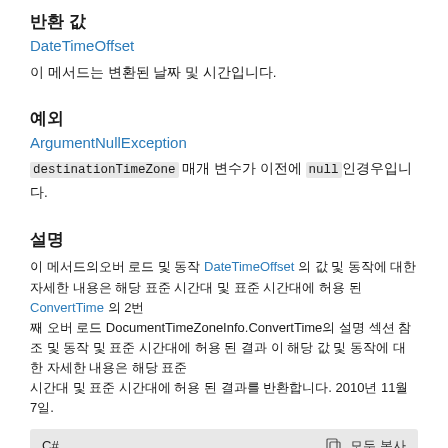반환 값
DateTimeOffset
이 메서드는 변환된 날짜 및 시간입니다.
예외
ArgumentNullException
destinationTimeZone 매개 변수가 null인경우입니다.
설명
이 메서드의오버 로드 및 동작 DateTimeOffset 의 값 및 동작에 대한 자세한 내용은 해당 표준 시간대 및 표준 시간대에 허용 된 ConvertTime 의 2번째 오버로드 DocumentTimeZoneInfo.ConvertTime의 설명 섹션을 참조하시기 바랍니다. 2010년 11월 7일.
C#